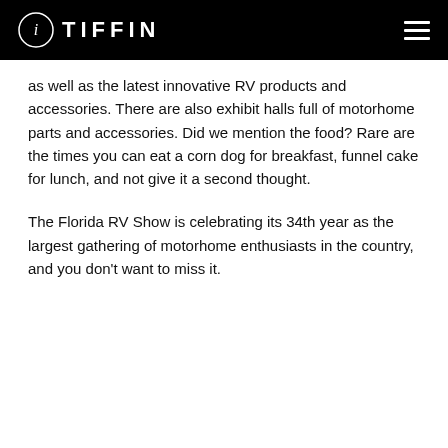TIFFIN
as well as the latest innovative RV products and accessories. There are also exhibit halls full of motorhome parts and accessories. Did we mention the food? Rare are the times you can eat a corn dog for breakfast, funnel cake for lunch, and not give it a second thought.
The Florida RV Show is celebrating its 34th year as the largest gathering of motorhome enthusiasts in the country, and you don't want to miss it.